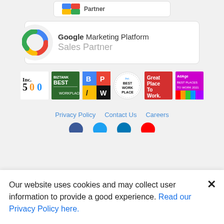[Figure (logo): Partial partner badge at top (cropped)]
[Figure (logo): Google Marketing Platform Sales Partner badge with Google G logo]
[Figure (logo): Row of award badges: Inc. 500, Biztank Best, B/P/W, Inc. Best Workplaces, Great Place To Work, AdAge Best Places to Work 2021]
Privacy Policy   Contact Us   Careers
[Figure (logo): Partial row of social media icons (cropped at bottom)]
Our website uses cookies and may collect user information to provide a good experience. Read our Privacy Policy here.